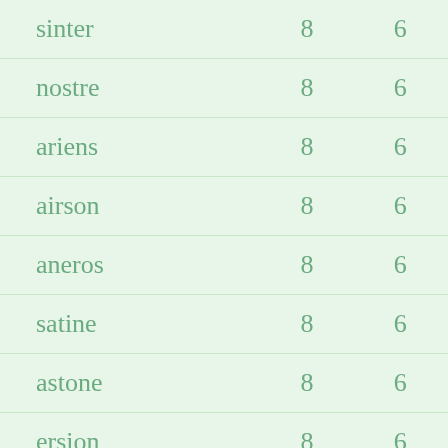| sinter | 8 | 6 |
| nostre | 8 | 6 |
| ariens | 8 | 6 |
| airson | 8 | 6 |
| aneros | 8 | 6 |
| satine | 8 | 6 |
| astone | 8 | 6 |
| ersion | 8 | 6 |
| nastro | 8 | 6 |